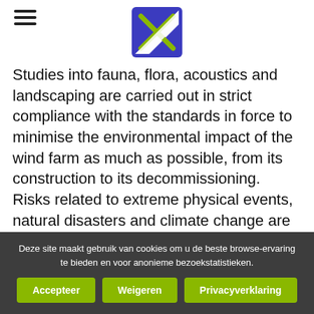[Figure (logo): Blue square logo with green X and white diagonal stripe]
Studies into fauna, flora, acoustics and landscaping are carried out in strict compliance with the standards in force to minimise the environmental impact of the wind farm as much as possible, from its construction to its decommissioning. Risks related to extreme physical events, natural disasters and climate change are also included in these studies.
M...
Deze site maakt gebruik van cookies om u de beste browse-ervaring te bieden en voor anonieme bezoekstatistieken.
Accepteer | Weigeren | Privacyverklaring